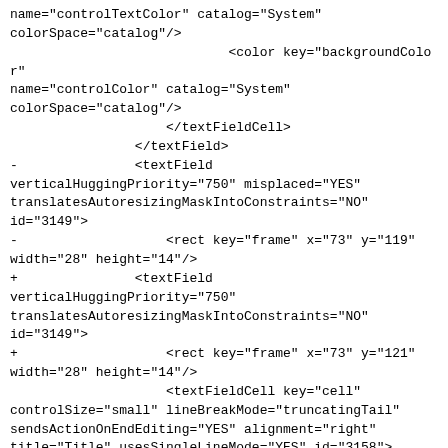name="controlTextColor" catalog="System"
colorSpace="catalog"/>
                            <color key="backgroundColor"
name="controlColor" catalog="System"
colorSpace="catalog"/>
                    </textFieldCell>
                </textField>
-               <textField
verticalHuggingPriority="750" misplaced="YES"
translatesAutoresizingMaskIntoConstraints="NO"
id="3149">
-                   <rect key="frame" x="73" y="119"
width="28" height="14"/>
+               <textField
verticalHuggingPriority="750"
translatesAutoresizingMaskIntoConstraints="NO"
id="3149">
+                   <rect key="frame" x="73" y="121"
width="28" height="14"/>
                    <textFieldCell key="cell"
controlSize="small" lineBreakMode="truncatingTail"
sendsActionOnEndEditing="YES" alignment="right"
title="Title" usesSingleLineMode="YES" id="3158">
-                       <font key="font"
metaFont="smallSystem"/>
+                       <font key="font"
metaFont="message" size="11"/>
                        <color key="textColor"
name="controlTextColor" catalog="System"
colorSpace="catalog"/>